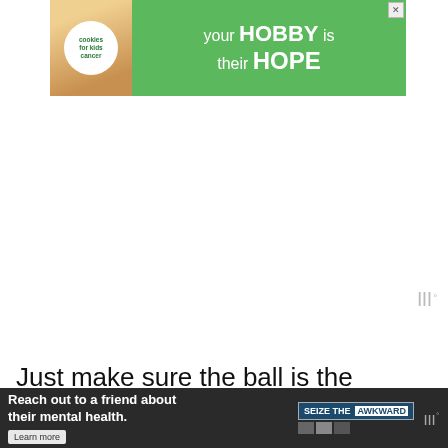[Figure (screenshot): Advertisement banner for 'Cookies for Kids Cancer' charity with green background. Text reads 'your HOBBY is their HOPE'. Close button visible top right.]
Just make sure the ball is the correct size for your body. Using one that's too big or too small may lead to discomfort.
Wrapping Things Up
There are a lot of ways that exercise can help or prevent back pain. The mobility
[Figure (screenshot): WHAT'S NEXT widget showing 'IKEA POANG vs. Pello: All...' with chair image]
[Figure (screenshot): Bottom ad banner with dark background. Text: 'Reach out to a friend about their mental health.' with 'SEIZE THE AWKWARD' branding and Learn more button. Wired logo at right.]